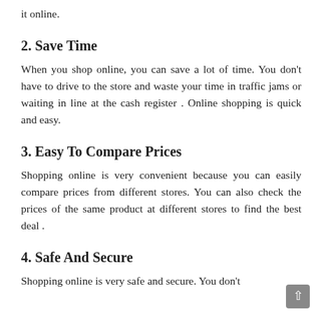it online.
2. Save Time
When you shop online, you can save a lot of time. You don't have to drive to the store and waste your time in traffic jams or waiting in line at the cash register . Online shopping is quick and easy.
3. Easy To Compare Prices
Shopping online is very convenient because you can easily compare prices from different stores. You can also check the prices of the same product at different stores to find the best deal .
4. Safe And Secure
Shopping online is very safe and secure. You don't